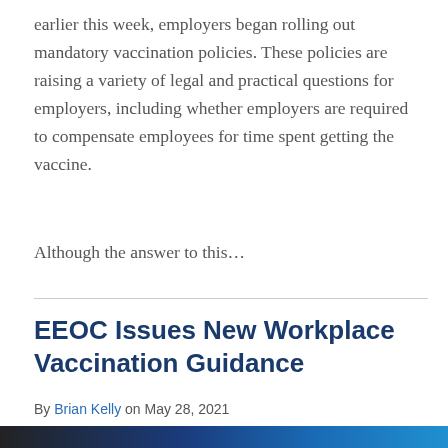earlier this week, employers began rolling out mandatory vaccination policies. These policies are raising a variety of legal and practical questions for employers, including whether employers are required to compensate employees for time spent getting the vaccine.
Although the answer to this...
EEOC Issues New Workplace Vaccination Guidance
By Brian Kelly on May 28, 2021
POSTED IN CORONAVIRUS, EEOC
[Figure (photo): Bottom partial image strip showing a dark gradient from black on the left to blue on the right, partially visible at the bottom of the page.]